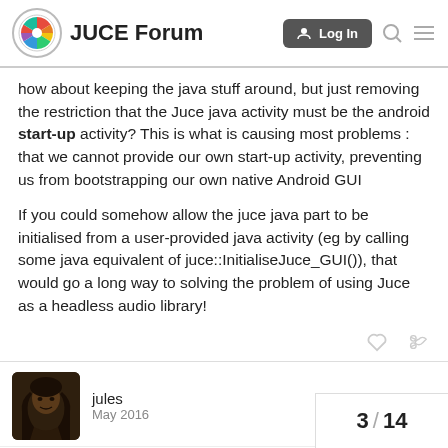JUCE Forum
how about keeping the java stuff around, but just removing the restriction that the Juce java activity must be the android start-up activity? This is what is causing most problems : that we cannot provide our own start-up activity, preventing us from bootstrapping our own native Android GUI
If you could somehow allow the juce java part to be initialised from a user-provided java activity (eg by calling some java equivalent of juce::InitialiseJuce_GUI()), that would go a long way to solving the problem of using Juce as a headless audio library!
jules   May 2016
You can provide your own activity class - th
Being tested to see if it can see Seek
3 / 14